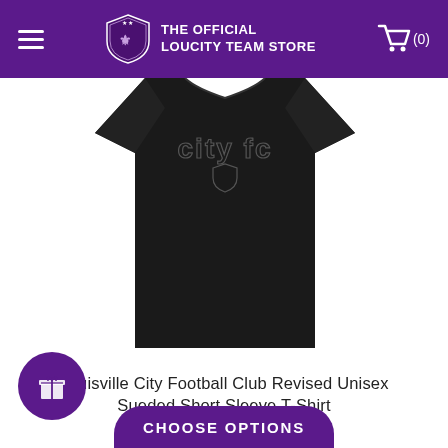THE OFFICIAL LOUCITY TEAM STORE
[Figure (photo): Black short sleeve t-shirt with 'City FC' graphic outline text on chest, displayed on white background]
Louisville City Football Club Revised Unisex Sueded Short Sleeve T-Shirt
$29.95
CHOOSE OPTIONS